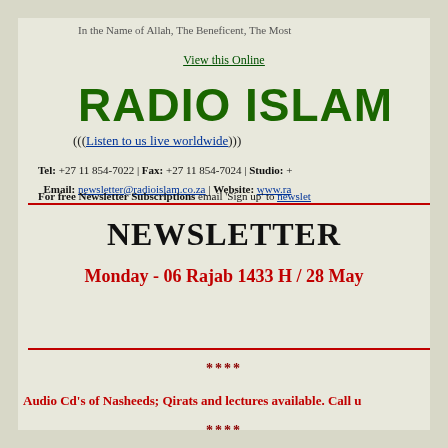In the Name of Allah, The Beneficent, The Most
View this Online
RADIO ISLAM
(((Listen to us live worldwide)))
Tel: +27 11 854-7022 | Fax: +27 11 854-7024 | Studio: + Email: newsletter@radioislam.co.za | Website: www.ra
For free Newsletter Subscriptions email 'Sign up' to newslet
NEWSLETTER
Monday - 06 Rajab 1433 H / 28 May
****
Audio Cd's of Nasheeds; Qirats and lectures available. Call u
****